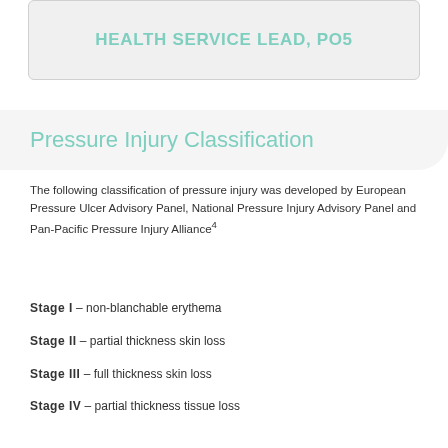HEALTH SERVICE LEAD, PO5
Pressure Injury Classification
The following classification of pressure injury was developed by European Pressure Ulcer Advisory Panel, National Pressure Injury Advisory Panel and Pan-Pacific Pressure Injury Alliance⁴
Stage I – non-blanchable erythema
Stage II – partial thickness skin loss
Stage III – full thickness skin loss
Stage IV – partial thickness tissue loss